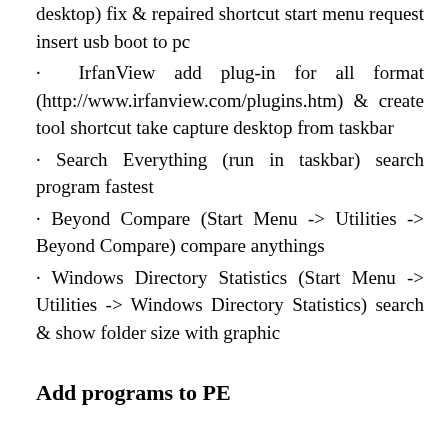desktop) fix & repaired shortcut start menu request insert usb boot to pc
· IrfanView add plug-in for all format (http://www.irfanview.com/plugins.htm) & create tool shortcut take capture desktop from taskbar
· Search Everything (run in taskbar) search program fastest
· Beyond Compare (Start Menu -> Utilities -> Beyond Compare) compare anythings
· Windows Directory Statistics (Start Menu -> Utilities -> Windows Directory Statistics) search & show folder size with graphic
Add programs to PE